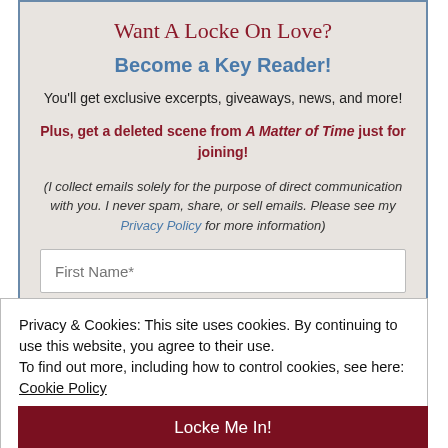Want A Locke On Love?
Become a Key Reader!
You'll get exclusive excerpts, giveaways, news, and more!
Plus, get a deleted scene from A Matter of Time just for joining!
(I collect emails solely for the purpose of direct communication with you. I never spam, share, or sell emails. Please see my Privacy Policy for more information)
First Name*
Privacy & Cookies: This site uses cookies. By continuing to use this website, you agree to their use.
To find out more, including how to control cookies, see here: Cookie Policy
Close and accept
Locke Me In!